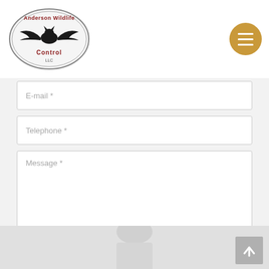[Figure (logo): Anderson Wildlife Control LLC logo with bat silhouette in oval frame]
E-mail *
Telephone *
Message *
SEND YOUR INQUIRY
[Figure (photo): Partial photo of a person at bottom of page]
[Figure (other): Back to top arrow button in grey]